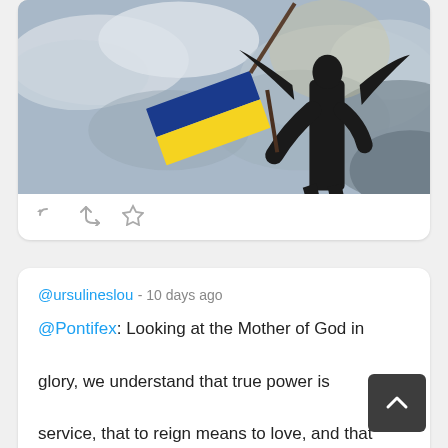[Figure (photo): Silhouette of an angel statue holding a Ukrainian flag (blue and yellow) against a cloudy sky background]
@ursulineslou - 10 days ago
@Pontifex: Looking at the Mother of God in glory, we understand that true power is service, that to reign means to love, and that this is the road to Heaven. #Assumption